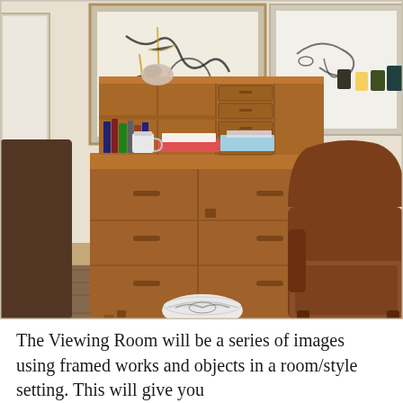[Figure (photo): Interior room scene showing a mid-century modern teak secretary desk/bureau with shelves, small drawers, books, a mug, and decorative objects on top. Framed artworks hang on the white wall behind the desk. A worn brown leather armchair sits to the right. A patterned rug covers part of the wooden floor. A decorative bowl is on the floor beneath the desk.]
The Viewing Room will be a series of images using framed works and objects in a room/style setting. This will give you